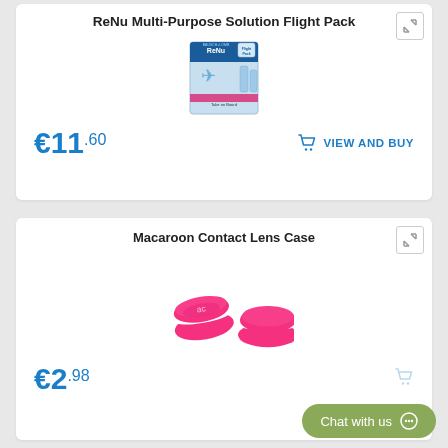ReNu Multi-Purpose Solution Flight Pack
[Figure (photo): ReNu Multi-Purpose Solution Flight Pack product box showing the Bausch+Lomb ReNu brand with a Flight Pack label, blue and white packaging with bottles visible]
€11.60
VIEW AND BUY
Macaroon Contact Lens Case
[Figure (photo): Two pink/hot-pink round macaroon-shaped contact lens cases with white rims, one closed and one slightly open]
€2.98
Chat with us